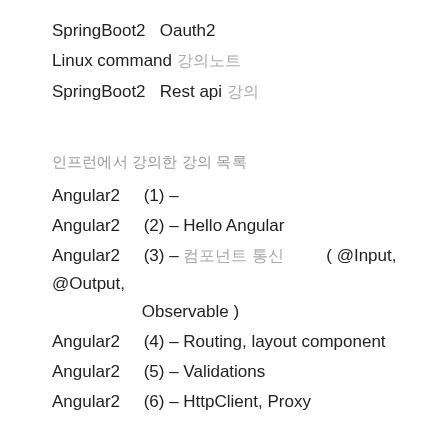SpringBoot2   Oauth2
Linux command 강의노트
SpringBoot2   Rest api 강의
인프런에서 강의한 강의 목록
Angular2     (1) –
Angular2     (2) – Hello Angular
Angular2     (3) – 컴포넌트 통신 ( @Input, @Output, Observable )
Angular2     (4) – Routing, layout component
Angular2     (5) – Validations
Angular2     (6) – HttpClient, Proxy